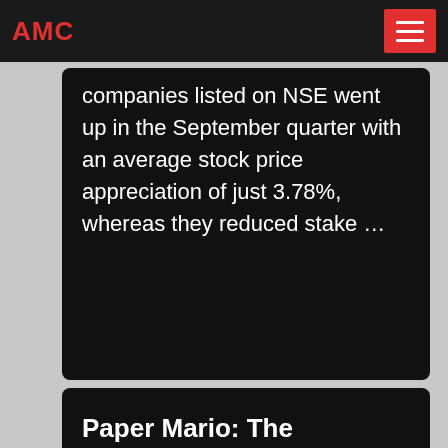AMC
companies listed on NSE went up in the September quarter with an average stock price appreciation of just 3.78%, whereas they reduced stake …
Paper Mario: The Thousand-Year Door
2022-1-3 · Paper Mario: The Thousand-Year Door is the second installment in the Paper Mario series, with the first being Paper Mario was released for the Nintendo GameCube in 2004 s plot revolves around Mario, who embarks on a mission to collect the seven Crystal Stars in order to open the Thousand-